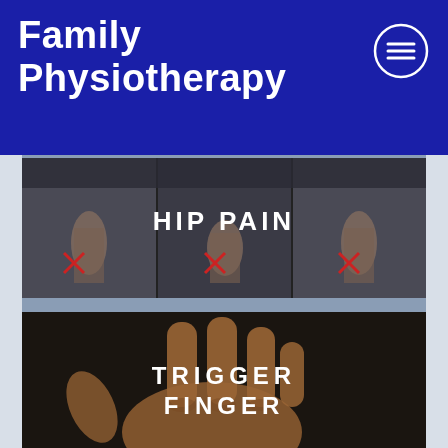Family Physiotherapy
[Figure (screenshot): Website screenshot showing Family Physiotherapy header with navigation menu icon, and two content cards: one for Hip Pain showing exercise images with red X marks, and one for Trigger Finger showing a close-up of a hand.]
HIP PAIN
TRIGGER FINGER